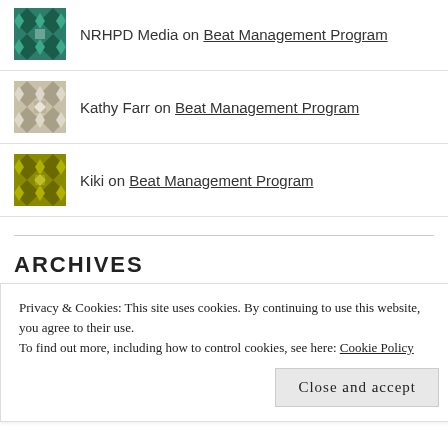NRHPD Media on Beat Management Program
Kathy Farr on Beat Management Program
Kiki on Beat Management Program
ARCHIVES
July 2017
June 2017
Privacy & Cookies: This site uses cookies. By continuing to use this website, you agree to their use.
To find out more, including how to control cookies, see here: Cookie Policy
Close and accept